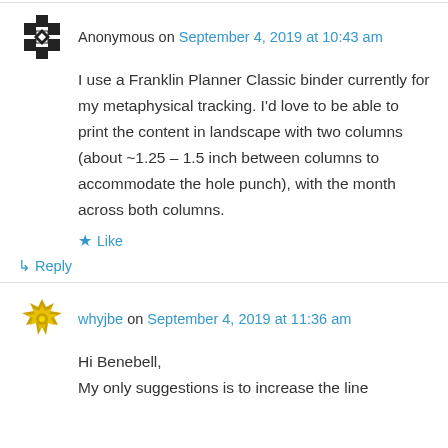Anonymous on September 4, 2019 at 10:43 am
I use a Franklin Planner Classic binder currently for my metaphysical tracking. I'd love to be able to print the content in landscape with two columns (about ~1.25 – 1.5 inch between columns to accommodate the hole punch), with the month across both columns.
★ Like
↳ Reply
whyjbe on September 4, 2019 at 11:36 am
Hi Benebell,
My only suggestions is to increase the line